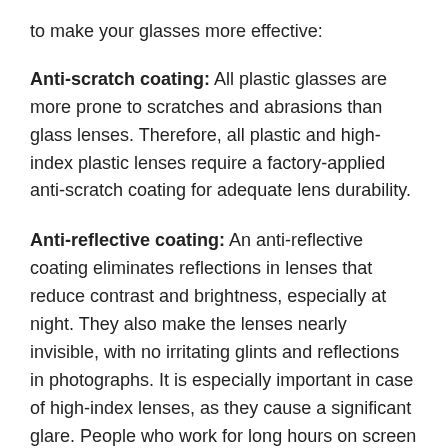to make your glasses more effective:
Anti-scratch coating: All plastic glasses are more prone to scratches and abrasions than glass lenses. Therefore, all plastic and high-index plastic lenses require a factory-applied anti-scratch coating for adequate lens durability.
Anti-reflective coating: An anti-reflective coating eliminates reflections in lenses that reduce contrast and brightness, especially at night. They also make the lenses nearly invisible, with no irritating glints and reflections in photographs. It is especially important in case of high-index lenses, as they cause a significant glare. People who work for long hours on screen devices are also often advised an anti-reflective coating.